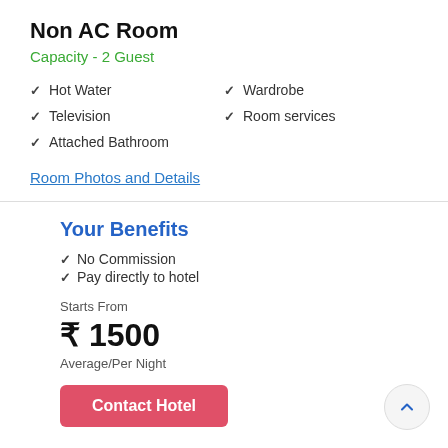Non AC Room
Capacity  -  2 Guest
Hot Water
Wardrobe
Television
Room services
Attached Bathroom
Room Photos and Details
Your Benefits
No Commission
Pay directly to hotel
Starts From
₹ 1500
Average/Per Night
Contact Hotel